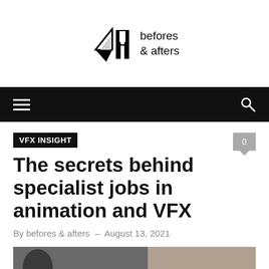befores & afters
VFX INSIGHT
The secrets behind specialist jobs in animation and VFX
By befores & afters – August 13, 2021
[Figure (photo): Partial view of a person working at a desk with papers or screen visible]